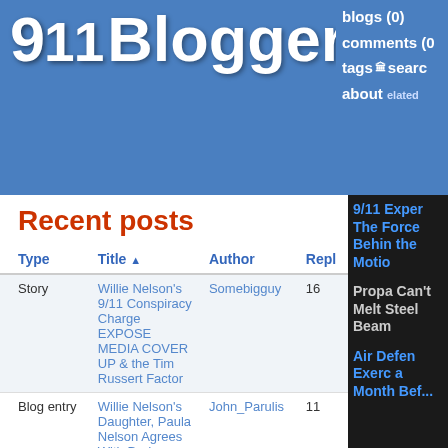911Blogger.com
Recent posts
| Type | Title ▲ | Author | Repl |
| --- | --- | --- | --- |
| Story | Willie Nelson's 9/11 Conspiracy Charge EXPOSE MEDIA COVER UP & the Tim Russert Factor | Somebigguy | 16 |
| Blog entry | Willie Nelson's Daughter, Paula Nelson Agrees With Dad | John_Parulis | 11 |
| Blog entry | Willie Nelson, Democracy Now!, and 47 seconds of 9/11 Skepticism! | Reprehensor | 15 |
| Blog entry | Willie Nelson, | Joe | 15 |